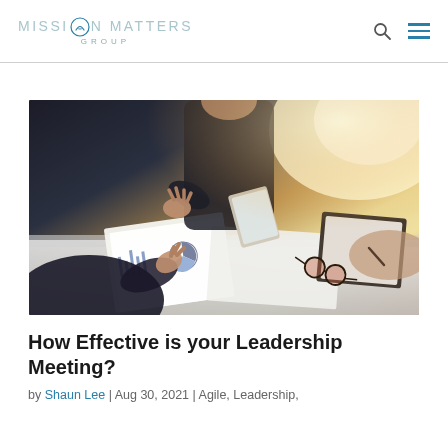MISSION MATTERS GROUP
[Figure (photo): Business meeting scene: people gathered around a desk with documents, charts, a tablet, glasses, and a notebook. Hands visible gesturing and writing. Warm backlit light from window.]
How Effective is your Leadership Meeting?
by Shaun Lee | Aug 30, 2021 | Agile, Leadership,